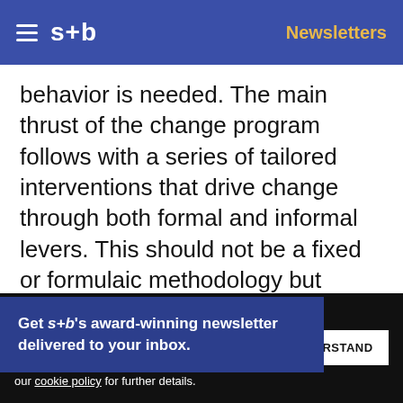s+b | Newsletters
behavior is needed. The main thrust of the change program follows with a series of tailored interventions that drive change through both formal and informal levers. This should not be a fixed or formulaic methodology but rather one that accelerates success by selecting the most efficient tools and specific circumstances and the organization.
Get s+b's award-winning newsletter delivered to your inbox.
We use cookies to personalize content and to provide you with an improved user experience. By continuing to browse this site you consent to the use of cookies. Please visit our cookie policy for further details.